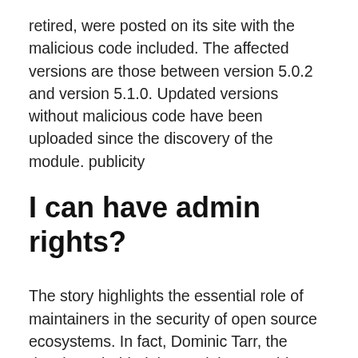retired, were posted on its site with the malicious code included. The affected versions are those between version 5.0.2 and version 5.1.0. Updated versions without malicious code have been uploaded since the discovery of the module. publicity
I can have admin rights?
The story highlights the essential role of maintainers in the security of open source ecosystems. In fact, Dominic Tarr, the developer behind the module, gave his explanation of the events that led to this infection in a text published on Github: he explains that he was contacted by another developer who wanted the help to maintain the project. “Since the beginnings of node / npm, sharing access rights with others has always been a common practice,” explains the developer, who recalls that open